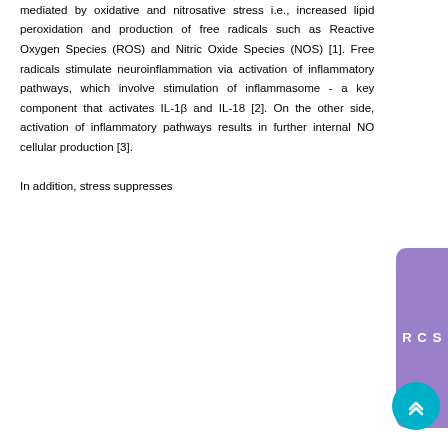mediated by oxidative and nitrosative stress i.e., increased lipid peroxidation and production of free radicals such as Reactive Oxygen Species (ROS) and Nitric Oxide Species (NOS) [1]. Free radicals stimulate neuroinflammation via activation of inflammatory pathways, which involve stimulation of inflammasome - a key component that activates IL-1β and IL-18 [2]. On the other side, activation of inflammatory pathways results in further internal NO cellular production [3].

In addition, stress suppresses